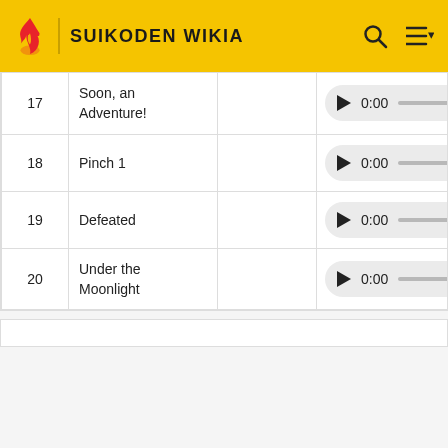SUIKODEN WIKIA
| # | Title |  | Player |
| --- | --- | --- | --- |
| 17 | Soon, an Adventure! |  | ▶ 0:00 —— |
| 18 | Pinch 1 |  | ▶ 0:00 —— |
| 19 | Defeated |  | ▶ 0:00 —— |
| 20 | Under the Moonlight |  | ▶ 0:00 —— |